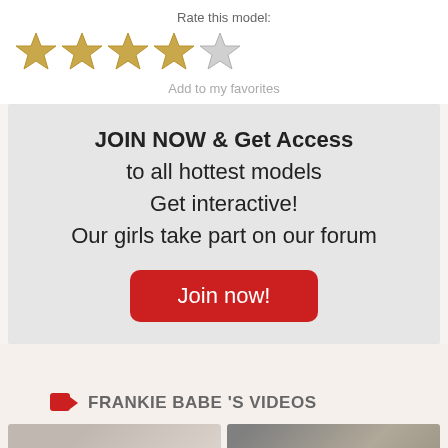Rate this model:
[Figure (other): Five star rating icons (gold/grey stars)]
Add to my favorites
JOIN NOW & Get Access to all hottest models Get interactive! Our girls take part on our forum
Join now!
FRANKIE BABE 'S VIDEOS
[Figure (photo): Two video thumbnail images at the bottom of the page]